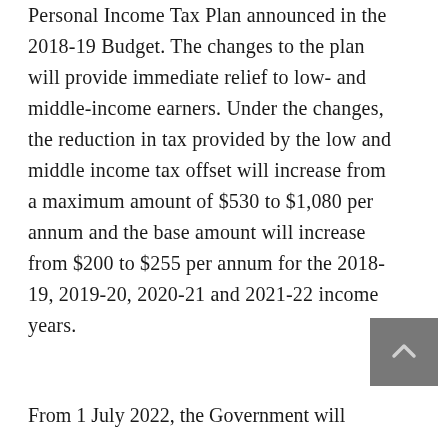Personal Income Tax Plan announced in the 2018-19 Budget. The changes to the plan will provide immediate relief to low- and middle-income earners. Under the changes, the reduction in tax provided by the low and middle income tax offset will increase from a maximum amount of $530 to $1,080 per annum and the base amount will increase from $200 to $255 per annum for the 2018-19, 2019-20, 2020-21 and 2021-22 income years.
From 1 July 2022, the Government will